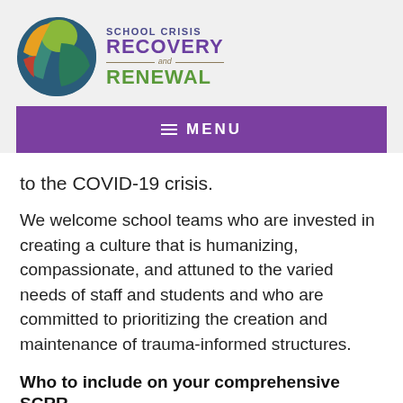[Figure (logo): School Crisis Recovery and Renewal logo with circular multicolor emblem and text]
≡ MENU
to the COVID-19 crisis.
We welcome school teams who are invested in creating a culture that is humanizing, compassionate, and attuned to the varied needs of staff and students and who are committed to prioritizing the creation and maintenance of trauma-informed structures.
Who to include on your comprehensive SCRR